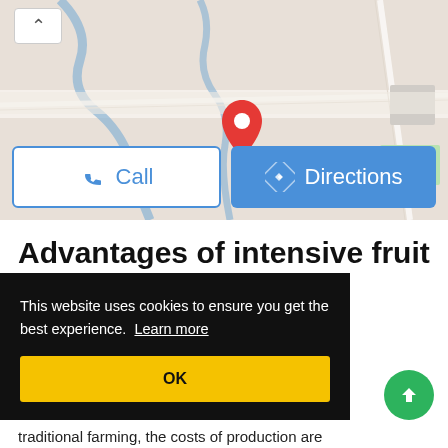[Figure (map): Google Maps view showing a location pin on a river/road area, with Call and Directions buttons overlaid at the bottom.]
Advantages of intensive fruit farming
Since unit of land, our than traditional farming, the costs of production are
This website uses cookies to ensure you get the best experience. Learn more
OK